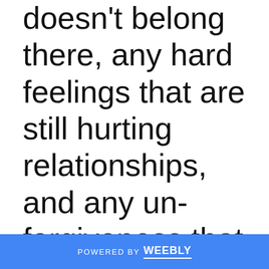doesn't belong there, any hard feelings that are still hurting relationships, and any un-forgiveness that is hindering our spiritual growth. Maybe we need to carefully box up the precious memories and the precious moments that
POWERED BY weebly